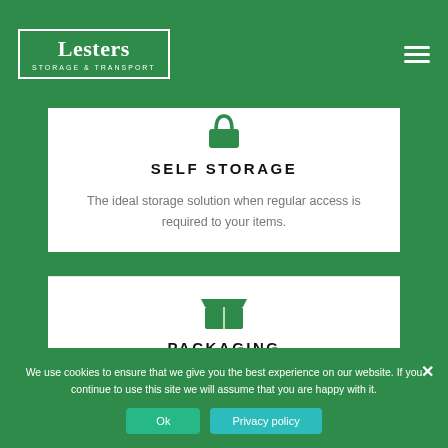Lesters STORAGE & TRANSPORT
[Figure (illustration): Lock/self-storage icon in green]
SELF STORAGE
The ideal storage solution when regular access is required to your items.
[Figure (illustration): Open box/packaging icon in green]
PACKAGING
We use cookies to ensure that we give you the best experience on our website. If you continue to use this site we will assume that you are happy with it.